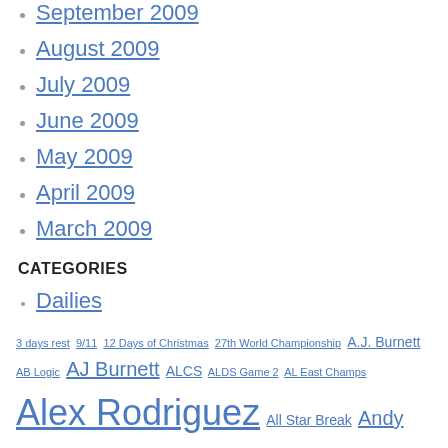September 2009
August 2009
July 2009
June 2009
May 2009
April 2009
March 2009
CATEGORIES
Dailies
3 days rest  9/11  12 Days of Christmas  27th World Championship  A.J. Burnett  AB Logic  AJ Burnett  ALCS  ALDS Game 2  AL East Champs  Alex Rodriguez  All Star Break  Andy Pettitte  Angels  Babe Ruth  Boston  Boston Red Sox  Brett Gardner  CC Sabathia  Charlie Manuel  chat  Chicken Little  Chien-Ming Wang  Chris Shearn  Cliff Lee  Cole Hamels